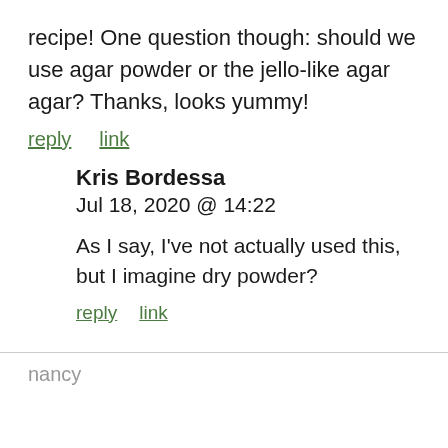recipe! One question though: should we use agar powder or the jello-like agar agar? Thanks, looks yummy!
reply   link
Kris Bordessa
Jul 18, 2020 @ 14:22

As I say, I've not actually used this, but I imagine dry powder?
reply   link
nancy